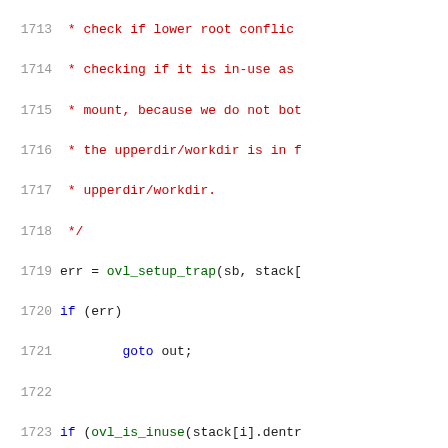[Figure (screenshot): Source code listing (C code) showing lines 1713–1734 of a file, with syntax highlighting: line numbers in gray, keywords in blue, comments in red, function names in green.]